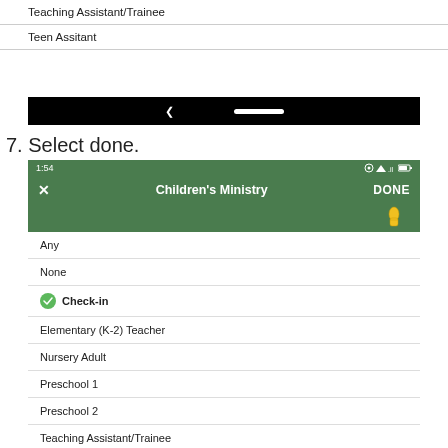Teaching Assistant/Trainee
Teen Assitant
[Figure (screenshot): Black Android navigation bar]
7. Select done.
[Figure (screenshot): Mobile app screenshot showing Children's Ministry screen with DONE button and list: Any, None, Check-in (selected with green checkmark), Elementary (K-2) Teacher, Nursery Adult, Preschool 1, Preschool 2, Teaching Assistant/Trainee. Status bar shows 1:54.]